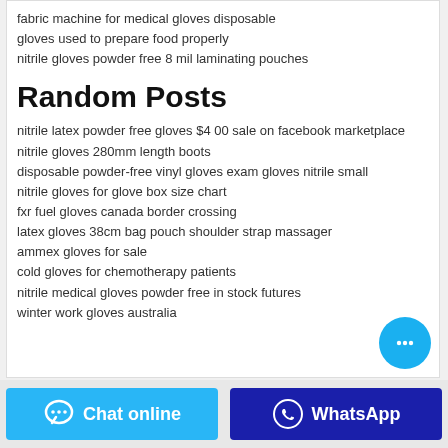fabric machine for medical gloves disposable
gloves used to prepare food properly
nitrile gloves powder free 8 mil laminating pouches
Random Posts
nitrile latex powder free gloves $4 00 sale on facebook marketplace
nitrile gloves 280mm length boots
disposable powder-free vinyl gloves exam gloves nitrile small
nitrile gloves for glove box size chart
fxr fuel gloves canada border crossing
latex gloves 38cm bag pouch shoulder strap massager
ammex gloves for sale
cold gloves for chemotherapy patients
nitrile medical gloves powder free in stock futures
winter work gloves australia
[Figure (other): Chat online button (light blue) and WhatsApp button (dark blue) at bottom of page]